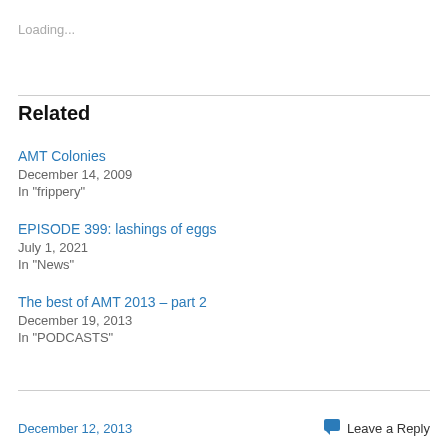Loading...
Related
AMT Colonies
December 14, 2009
In "frippery"
EPISODE 399: lashings of eggs
July 1, 2021
In "News"
The best of AMT 2013 – part 2
December 19, 2013
In "PODCASTS"
December 12, 2013   Leave a Reply